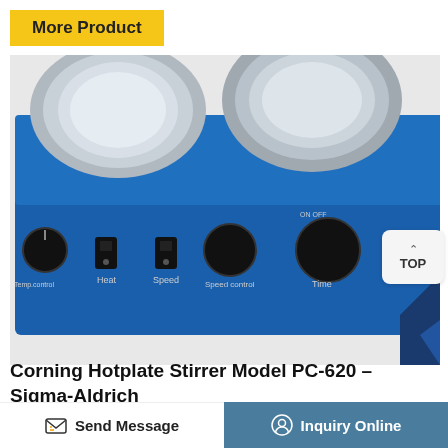More Product
[Figure (photo): Corning Hotplate Stirrer Model PC-620 laboratory device, blue metal body with two round heating plates on top, control knobs and switches on front panel labeled: Temperature control, Heat, Speed, Speed control, Time.]
Corning Hotplate Stirrer Model PC-620 - Sigma-Aldrich
Send Message
Inquiry Online